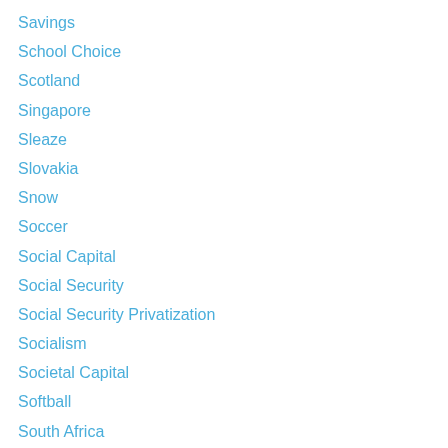Savings
School Choice
Scotland
Singapore
Sleaze
Slovakia
Snow
Soccer
Social Capital
Social Security
Social Security Privatization
Socialism
Societal Capital
Softball
South Africa
South Korea
Sovereignty
Spain
Spending
Spending Cap